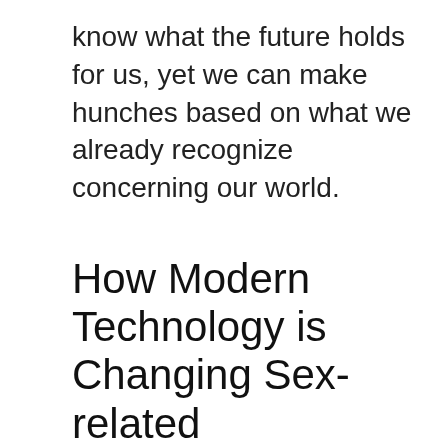know what the future holds for us, yet we can make hunches based on what we already recognize concerning our world.
How Modern Technology is Changing Sex-related